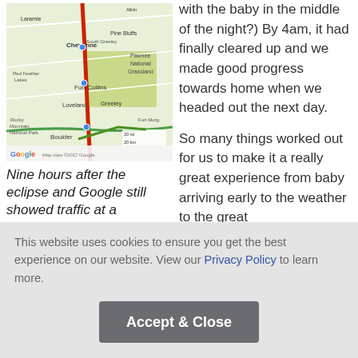[Figure (map): Google Maps screenshot showing route through Wyoming and Colorado, including cities Laramie, Cheyenne, Pine Bluffs, Fort Collins, Loveland, Greeley, Boulder, and Pawnee National Grassland, with a red route line running north-south along I-25.]
Nine hours after the eclipse and Google still showed traffic at a
with the baby in the middle of the night?)  By 4am, it had finally cleared up and we made good progress towards home when we headed out the next day.
So many things worked out for us to make it a really great experience from baby arriving early to the weather to the great
This website uses cookies to ensure you get the best experience on our website. View our Privacy Policy to learn more.
Accept & Close